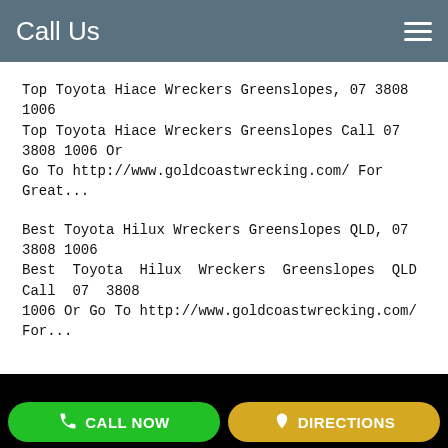Call Us
Top Toyota Hiace Wreckers Greenslopes, 07 3808 1006
Top Toyota Hiace Wreckers Greenslopes Call 07 3808 1006 Or Go To http://www.goldcoastwrecking.com/ For Great...
Best Toyota Hilux Wreckers Greenslopes QLD, 07 3808 1006
Best Toyota Hilux Wreckers Greenslopes QLD Call 07 3808 1006 Or Go To http://www.goldcoastwrecking.com/ For...
About The shop
Gold Coast QLD
To...